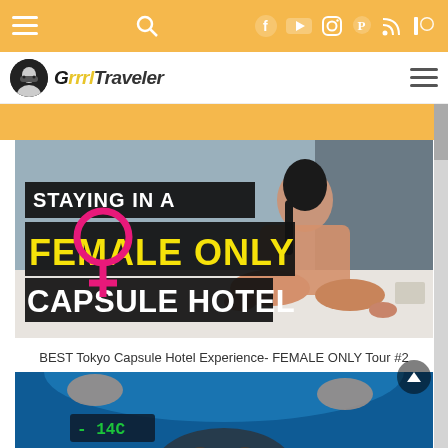GrrrlTraveler website navigation bar with menu, search, Facebook, YouTube, Instagram, Pinterest, RSS, Patreon icons
[Figure (logo): GrrrlTraveler logo with masked woman icon and stylized text]
[Figure (photo): Thumbnail image for 'Staying in a Female Only Capsule Hotel' showing woman in pink outfit sitting cross-legged on bed, with bold text overlay and female symbol]
BEST Tokyo Capsule Hotel Experience- FEMALE ONLY Tour #2
[Figure (photo): Second thumbnail image showing close-up of person in blue-tinted capsule hotel pod with temperature display reading -14C]